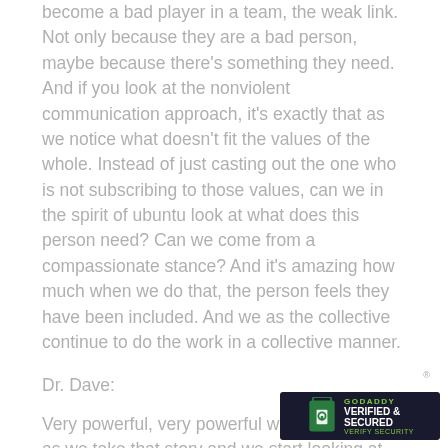become a bad player in a team, the weak link. Not only because they are a bad person, maybe because there's something they need. And if you look at the nonviolent communication approach, it's exactly that as we notice what doesn't fit the values of the whole. Instead of just casting out the one who is not subscribing to those values, can we in the spirit of ubuntu look at what does this person need? Can we come from a compassionate stance? And it's amazing how much when we do that, the person feels they have been included. And we as the collective continue to do the work in a collective manner.
Dr. Dave:
Very powerful, very powerful with that story. So as we take that story and we start looking at an organization working to experience belonging and healing, how would they benefit from ubuntu?
Nobantu:
It's exactly like... Think about an organization, what kills organization is working in silos. What kill organizations is unhealthy competition. What kills organiza... form of rewards that we have which are somehow focused
[Figure (logo): GoDaddy Verified & Secured badge with lock icon]